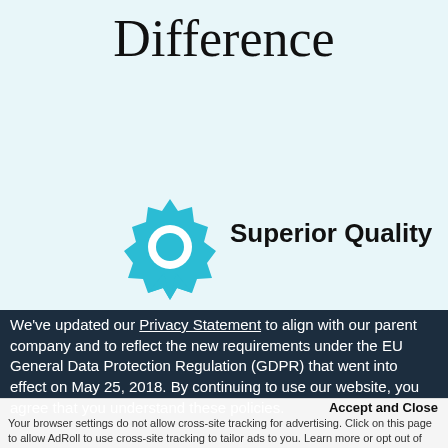Difference
[Figure (illustration): Teal award ribbon/badge icon]
Superior Quality
We’ve updated our Privacy Statement to align with our parent company and to reflect the new requirements under the EU General Data Protection Regulation (GDPR) that went into effect on May 25, 2018. By continuing to use our website, you agree that you understand these policies.
Accept and Close
Your browser settings do not allow cross-site tracking for advertising. Click on this page to allow AdRoll to use cross-site tracking to tailor ads to you. Learn more or opt out of this AdRoll tracking by clicking here. This message only appears once.